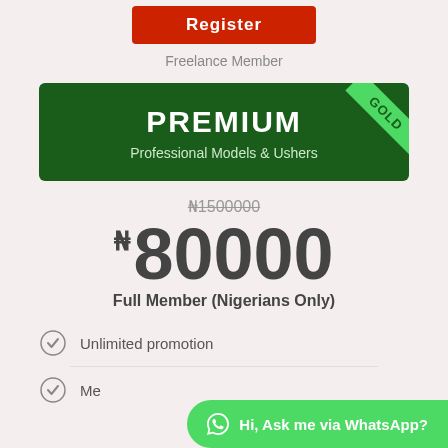Register
Freelance Member
PREMIUM
Professional Models & Ushers
₦80000
₦1500000
Full Member (Nigerians Only)
Unlimited promotion
Me...
Hi, Ask me via WhatsApp?